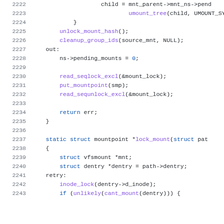[Figure (screenshot): Source code listing showing C code lines 2222-2243 from a Linux kernel file related to mount operations. Shows functions umount_tree, unlock_mount_hash, cleanup_group_ids, ns->pending_mounts, read_seqlock_excl, put_mountpoint, read_sequnlock_excl, return err, and the beginning of static struct mountpoint *lock_mount function.]